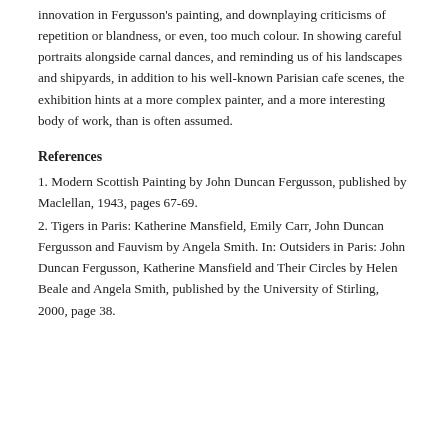innovation in Fergusson's painting, and downplaying criticisms of repetition or blandness, or even, too much colour. In showing careful portraits alongside carnal dances, and reminding us of his landscapes and shipyards, in addition to his well-known Parisian cafe scenes, the exhibition hints at a more complex painter, and a more interesting body of work, than is often assumed.
References
1. Modern Scottish Painting by John Duncan Fergusson, published by Maclellan, 1943, pages 67-69.
2. Tigers in Paris: Katherine Mansfield, Emily Carr, John Duncan Fergusson and Fauvism by Angela Smith. In: Outsiders in Paris: John Duncan Fergusson, Katherine Mansfield and Their Circles by Helen Beale and Angela Smith, published by the University of Stirling, 2000, page 38.